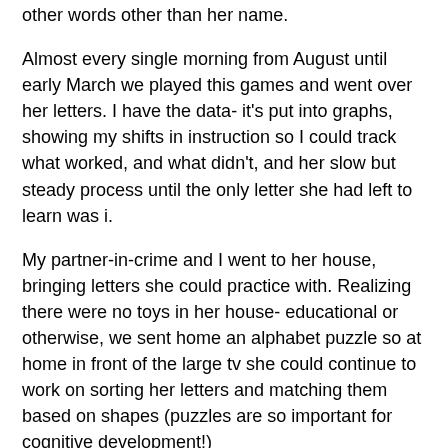other words other than her name.
Almost every single morning from August until early March we played this games and went over her letters. I have the data- it's put into graphs, showing my shifts in instruction so I could track what worked, and what didn't, and her slow but steady process until the only letter she had left to learn was i.
My partner-in-crime and I went to her house, bringing letters she could practice with. Realizing there were no toys in her house- educational or otherwise, we sent home an alphabet puzzle so at home in front of the large tv she could continue to work on sorting her letters and matching them based on shapes (puzzles are so important for cognitive development!)
Not to mention she's been a part of her fabulous kindergarten class where they do work with letters every day. She's immersed in literacy in school- she is getting a wonderful kindergarten experience daily, in a classroom with a fairly low teacher/student ratio.
Needless to say, the first day she read all 9 of those letters